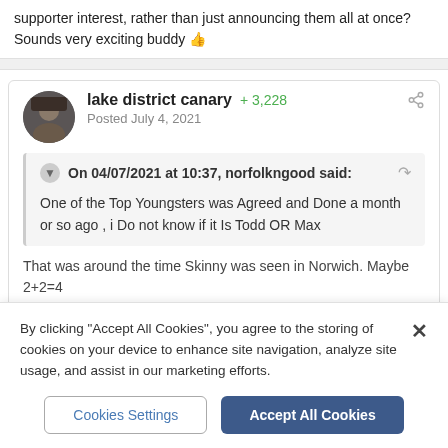supporter interest, rather than just announcing them all at once? Sounds very exciting buddy 👍
lake district canary +3,228
Posted July 4, 2021
On 04/07/2021 at 10:37, norfolkngood said:
One of the Top Youngsters was Agreed and Done a month or so ago , i Do not know if it Is Todd OR Max
That was around the time Skinny was seen in Norwich. Maybe 2+2=4
By clicking "Accept All Cookies", you agree to the storing of cookies on your device to enhance site navigation, analyze site usage, and assist in our marketing efforts.
Cookies Settings
Accept All Cookies